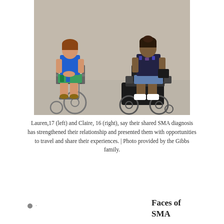[Figure (photo): Two teenage girls in wheelchairs sitting side by side outdoors on a concrete surface. The girl on the left wears a blue tank top and colorful skirt and sandals. The girl on the right wears a dark patterned top and denim shorts with white sneakers and is in a powered wheelchair.]
Lauren,17 (left) and Claire, 16 (right), say their shared SMA diagnosis has strengthened their relationship and presented them with opportunities to travel and share their experiences. | Photo provided by the Gibbs family.
Faces of SMA
The success of therapeutics in lab experiments